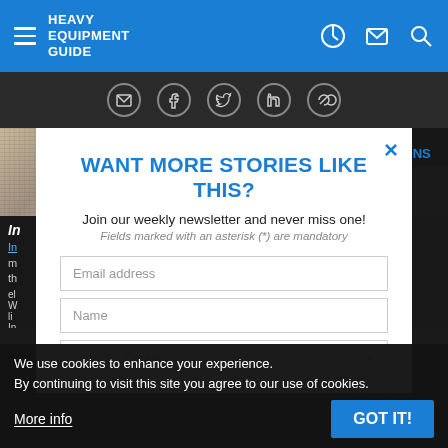HEAVY EQUIPMENT GUIDE
[Figure (screenshot): Social media sharing icons: email, facebook, twitter, linkedin, link]
[Figure (screenshot): Website article page with image, article heading starting with I, article text, guide panel showing 2019 TOP INTRODUCTIONS]
[Figure (screenshot): Modal popup: WANT MORE STORIES LIKE THIS? Join our weekly newsletter and never miss one! Fields marked with an asterisk (*) are mandatory. Email address input, Name input, Select a Country dropdown. Close X button.]
We use cookies to enhance your experience.
By continuing to visit this site you agree to our use of cookies.
More info
GOT IT!